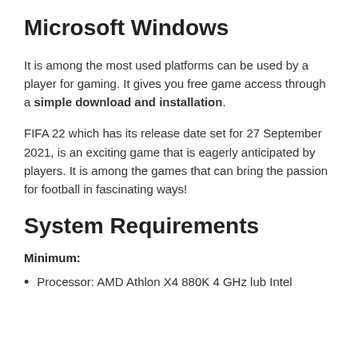Microsoft Windows
It is among the most used platforms can be used by a player for gaming. It gives you free game access through a simple download and installation.
FIFA 22 which has its release date set for 27 September 2021, is an exciting game that is eagerly anticipated by players. It is among the games that can bring the passion for football in fascinating ways!
System Requirements
Minimum:
Processor: AMD Athlon X4 880K 4 GHz lub Intel